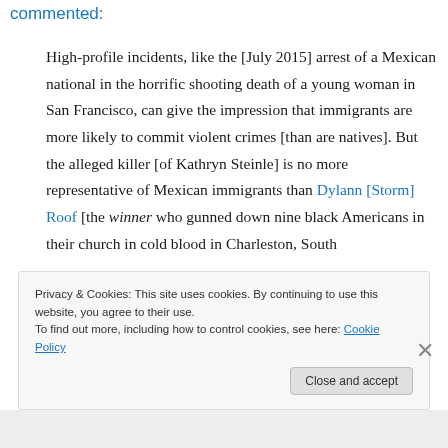commented:
High-profile incidents, like the [July 2015] arrest of a Mexican national in the horrific shooting death of a young woman in San Francisco, can give the impression that immigrants are more likely to commit violent crimes [than are natives]. But the alleged killer [of Kathryn Steinle] is no more representative of Mexican immigrants than Dylann [Storm] Roof [the winner who gunned down nine black Americans in their church in cold blood in Charleston, South
Privacy & Cookies: This site uses cookies. By continuing to use this website, you agree to their use.
To find out more, including how to control cookies, see here: Cookie Policy
Close and accept